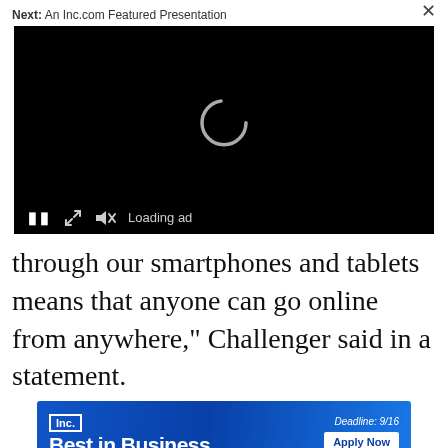Next: An Inc.com Featured Presentation
[Figure (screenshot): Black video player with loading spinner and controls bar showing pause, expand, mute icons and 'Loading ad' text. Close (X) button in top right.]
through our smartphones and tablets means that anyone can go online from anywhere," Challenger said in a statement.
[Figure (other): Inc. Best in Business advertisement banner with blue gradient background. Shows Inc. logo, 'Best in Business' text, 'Deadline: 9/16' and 'Apply Now' button.]
So h